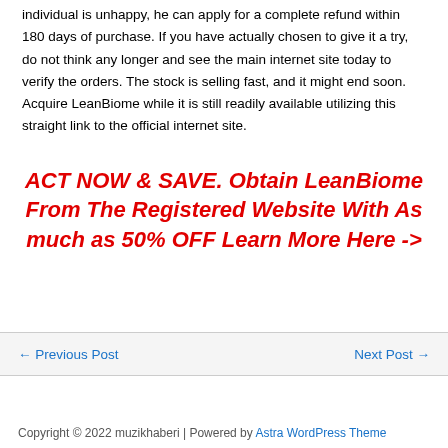individual is unhappy, he can apply for a complete refund within 180 days of purchase. If you have actually chosen to give it a try, do not think any longer and see the main internet site today to verify the orders. The stock is selling fast, and it might end soon. Acquire LeanBiome while it is still readily available utilizing this straight link to the official internet site.
ACT NOW & SAVE. Obtain LeanBiome From The Registered Website With As much as 50% OFF Learn More Here ->
← Previous Post
Next Post →
Copyright © 2022 muzikhaberi | Powered by Astra WordPress Theme